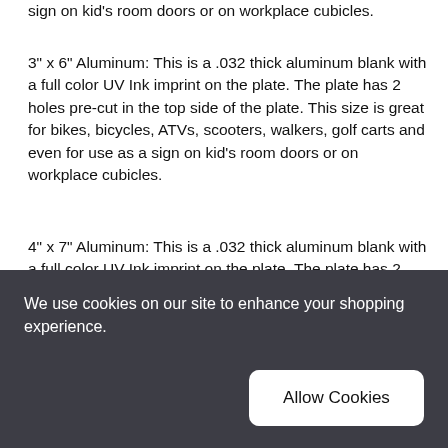sign on kid's room doors or on workplace cubicles.
3" x 6" Aluminum: This is a .032 thick aluminum blank with a full color UV Ink imprint on the plate. The plate has 2 holes pre-cut in the top side of the plate. This size is great for bikes, bicycles, ATVs, scooters, walkers, golf carts and even for use as a sign on kid's room doors or on workplace cubicles.
4" x 7" Aluminum: This is a .032 thick aluminum blank with a full color UV Ink imprint on the plate. The plate has 2 holes pre-cut in the top side of the plate. This size is great for bikes, bicycles, ATVs, scooters, walkers, golf carts, motorcycles and even for use as a sign on kid's room doors or on workplace cubicles.
6"x 12" Aluminum: This is a .032 thick aluminum blank with
We use cookies on our site to enhance your shopping experience.